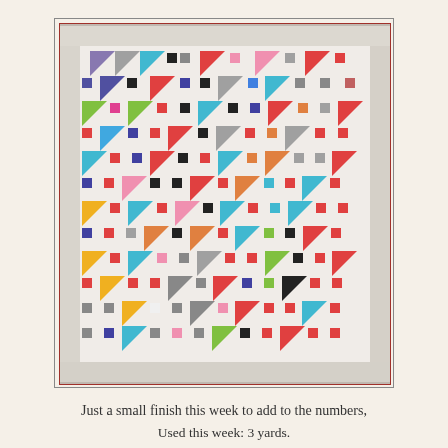[Figure (photo): A colorful patchwork quilt laid flat, showing a pattern of triangles and small square blocks in many colors including red, blue, teal, green, yellow, orange, pink, gray, black, and white on a white background. The quilt is displayed with a white border and is framed by a thin dark border in the photo.]
Just a small finish this week to add to the numbers,
Used this week: 3 yards.
Used YTD: 45 yards.